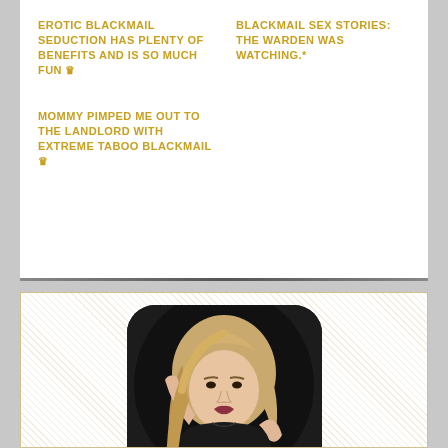EROTIC BLACKMAIL SEDUCTION HAS PLENTY OF BENEFITS AND IS SO MUCH FUN 👑
BLACKMAIL SEX STORIES: THE WARDEN WAS WATCHING.*
MOMMY PIMPED ME OUT TO THE LANDLORD WITH EXTREME TABOO BLACKMAIL 👑
[Figure (photo): A blonde woman in a black top, hand raised to her head, posed against a dark background, shown in a rounded rectangle crop]